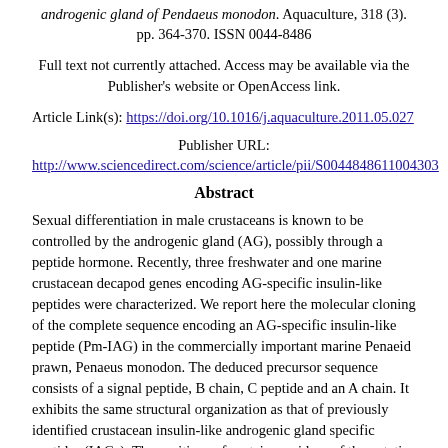androgenic gland of Pendaeus monodon. Aquaculture, 318 (3). pp. 364-370. ISSN 0044-8486
Full text not currently attached. Access may be available via the Publisher's website or OpenAccess link.
Article Link(s): https://doi.org/10.1016/j.aquaculture.2011.05.027
Publisher URL: http://www.sciencedirect.com/science/article/pii/S0044848611004303
Abstract
Sexual differentiation in male crustaceans is known to be controlled by the androgenic gland (AG), possibly through a peptide hormone. Recently, three freshwater and one marine crustacean decapod genes encoding AG-specific insulin-like peptides were characterized. We report here the molecular cloning of the complete sequence encoding an AG-specific insulin-like peptide (Pm-IAG) in the commercially important marine Penaeid prawn, Penaeus monodon. The deduced precursor sequence consists of a signal peptide, B chain, C peptide and an A chain. It exhibits the same structural organization as that of previously identified crustacean insulin-like androgenic gland specific peptides (IAGs). The positions of cysteine residues of the putative A and B chains, which govern the folding of the mature peptide via the formation of disulfide bridges, are highly conserved among the prawn and other crustaceans, while the rest of the amino acids show low sequence similarity. Gene suppression analysis of Pm-IAG in several